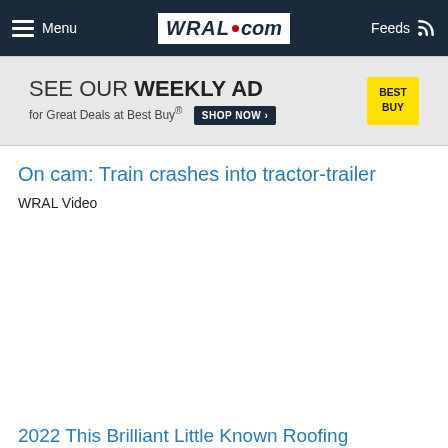Menu | WRAL.com | Feeds
[Figure (screenshot): Best Buy advertisement banner: SEE OUR WEEKLY AD for Great Deals at Best Buy® with SHOP NOW button and Best Buy logo]
On cam: Train crashes into tractor-trailer
WRAL Video
2022 This Brilliant Little Known Roofing